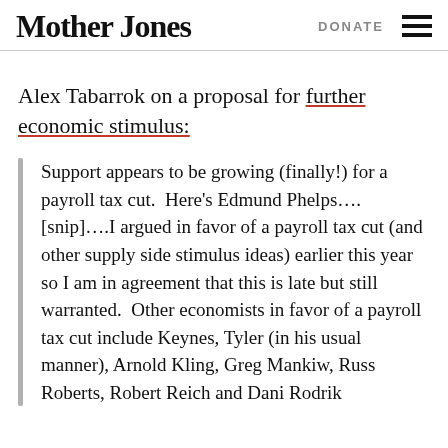Mother Jones | DONATE
Alex Tabarrok on a proposal for further economic stimulus:
Support appears to be growing (finally!) for a payroll tax cut.  Here's Edmund Phelps….[snip]….I argued in favor of a payroll tax cut (and other supply side stimulus ideas) earlier this year so I am in agreement that this is late but still warranted.  Other economists in favor of a payroll tax cut include Keynes, Tyler (in his usual manner), Arnold Kling, Greg Mankiw, Russ Roberts, Robert Reich and Dani Rodrik